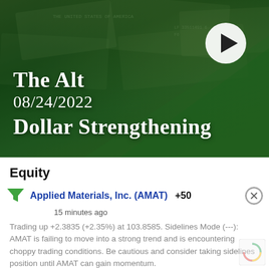[Figure (screenshot): Video thumbnail with green-tinted money background showing text 'The Alt 08/24/2022 Dollar Strengthening' with a white play button in the upper right]
Equity
Applied Materials, Inc. (AMAT) +50
15 minutes ago
Trading up +2.3835 (+2.35%) at 103.8585. Sidelines Mode (---): AMAT is failing to move into a strong trend and is encountering choppy trading conditions. Be cautious and consider taking sidelines position until AMAT can gain momentum.